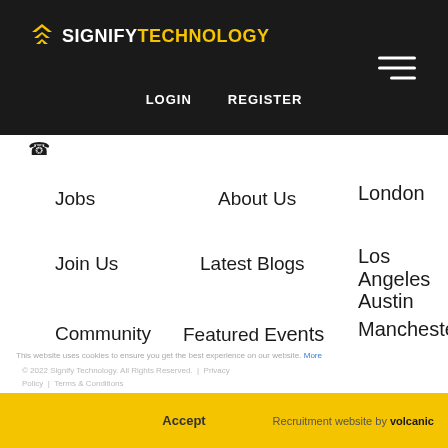SIGNIFY TECHNOLOGY — LOGIN  REGISTER
Jobs
About Us
London
Join Us
Latest Blogs
Los Angeles
Austin
Community
Featured Events
Manchester
© 2022 Signify Technology. All Rights Reserved.  |  Privacy Policy  |  Terms & Conditions  Recruitment website by volcanic
This website uses cookies to ensure you get the best experience on our website. More
Accept